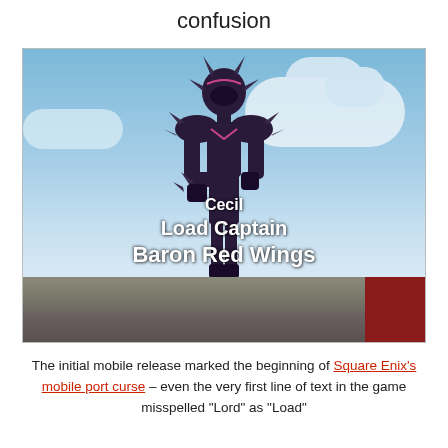confusion
[Figure (screenshot): Game screenshot showing a dark armored character (Cecil) standing against a blue sky background, with text overlay reading 'Cecil / Load Captain / Baron Red Wings']
The initial mobile release marked the beginning of Square Enix's mobile port curse – even the very first line of text in the game misspelled "Lord" as "Load"